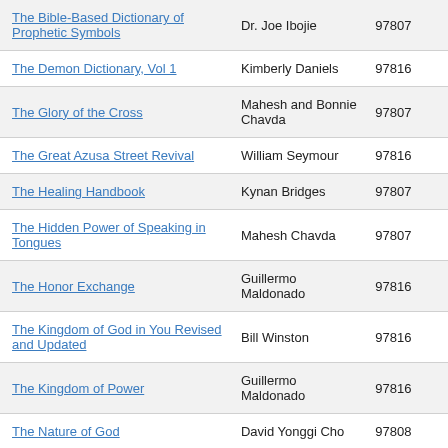| Title | Author | ISBN |
| --- | --- | --- |
| The Bible-Based Dictionary of Prophetic Symbols | Dr. Joe Ibojie | 97807... |
| The Demon Dictionary, Vol 1 | Kimberly Daniels | 97816... |
| The Glory of the Cross | Mahesh and Bonnie Chavda | 97807... |
| The Great Azusa Street Revival | William Seymour | 97816... |
| The Healing Handbook | Kynan Bridges | 97807... |
| The Hidden Power of Speaking in Tongues | Mahesh Chavda | 97807... |
| The Honor Exchange | Guillermo Maldonado | 97816... |
| The Kingdom of God in You Revised and Updated | Bill Winston | 97816... |
| The Kingdom of Power | Guillermo Maldonado | 97816... |
| The Nature of God | David Yonggi Cho | 97808... |
| The Only Answer Is Prayer | William McDowell & Jason McMullen | 97808... |
| The Power of Prophetic Prayer | Kynan Bridges | 97816... |
| The Prophetic Advantage | Michelle McClain-Walters | 97816... |
| The Prophetic Advantage Study Guide | Michelle McClain-Walters | 97816... |